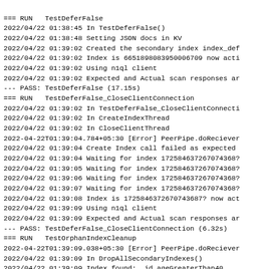=== RUN   TestDeferFalse
2022/04/22 01:38:45 In TestDeferFalse()
2022/04/22 01:38:48 Setting JSON docs in KV
2022/04/22 01:39:02 Created the secondary index index_def
2022/04/22 01:39:02 Index is 6651898083950006709 now acti
2022/04/22 01:39:02 Using n1ql client
2022/04/22 01:39:02 Expected and Actual scan responses ar
--- PASS: TestDeferFalse (17.15s)
=== RUN   TestDeferFalse_CloseClientConnection
2022/04/22 01:39:02 In TestDeferFalse_CloseClientConnecti
2022/04/22 01:39:02 In CreateIndexThread
2022/04/22 01:39:02 In CloseClientThread
2022-04-22T01:39:04.784+05:30 [Error] PeerPipe.doReciever
2022/04/22 01:39:04 Create Index call failed as expected
2022/04/22 01:39:04 Waiting for index 172584637267074368?
2022/04/22 01:39:05 Waiting for index 172584637267074368?
2022/04/22 01:39:06 Waiting for index 172584637267074368?
2022/04/22 01:39:07 Waiting for index 172584637267074368?
2022/04/22 01:39:08 Index is 1725846372670743687? now act
2022/04/22 01:39:09 Using n1ql client
2022/04/22 01:39:09 Expected and Actual scan responses ar
--- PASS: TestDeferFalse_CloseClientConnection (6.32s)
=== RUN   TestOrphanIndexCleanup
2022-04-22T01:39:09.038+05:30 [Error] PeerPipe.doReciever
2022/04/22 01:39:09 In DropAllSecondaryIndexes()
2022/04/22 01:39:09 Index found:  id_ageGreaterThan40
2022/04/22 01:39:09 Dropped index id_ageGreaterThan40
2022/04/22 01:39:09 Index found:  index_deferfalse1
2022/04/22 01:39:09 Dropped index index_deferfalse1
2022/04/22 01:39:09 Index found:  index_deferfalse2